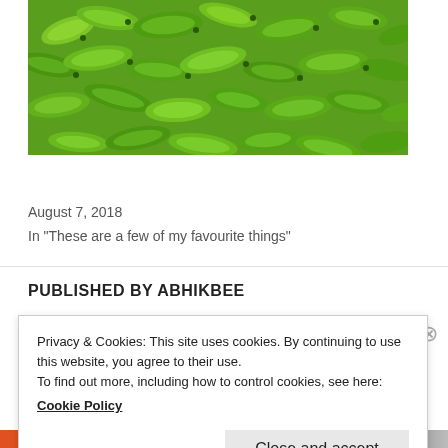[Figure (photo): Green bananas/plantains packed tightly together, viewed from above]
Airplane Mode – Sri Lanka Bound
August 7, 2018
In "These are a few of my favourite things"
PUBLISHED BY ABHIKBEE
[Figure (photo): Circular avatar photo of a person]
Privacy & Cookies: This site uses cookies. By continuing to use this website, you agree to their use.
To find out more, including how to control cookies, see here:
Cookie Policy
Close and accept